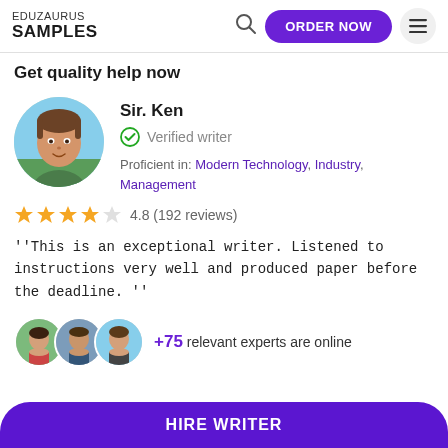EDUZAURUS SAMPLES
Get quality help now
Sir. Ken
Verified writer
Proficient in: Modern Technology, Industry, Management
4.8 (192 reviews)
"This is an exceptional writer. Listened to instructions very well and produced paper before the deadline. "
+75 relevant experts are online
HIRE WRITER